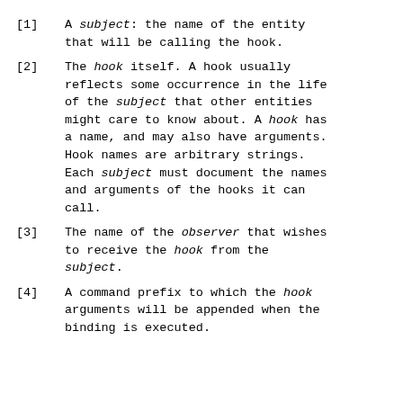[1]   A subject: the name of the entity that will be calling the hook.
[2]   The hook itself. A hook usually reflects some occurrence in the life of the subject that other entities might care to know about. A hook has a name, and may also have arguments. Hook names are arbitrary strings. Each subject must document the names and arguments of the hooks it can call.
[3]   The name of the observer that wishes to receive the hook from the subject.
[4]   A command prefix to which the hook arguments will be appended when the binding is executed.